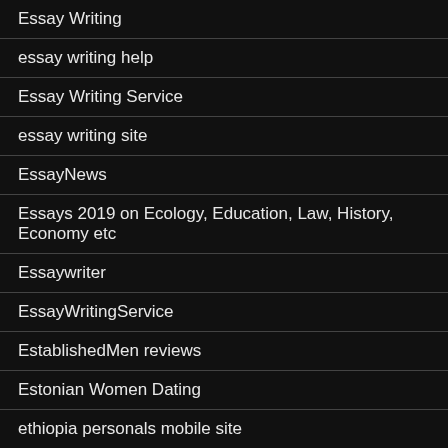Essay Writing
essay writing help
Essay Writing Service
essay writing site
EssayNews
Essays 2019 on Ecology, Education, Law, History, Economy etc
Essaywriter
EssayWritingService
EstablishedMen reviews
Estonian Women Dating
ethiopia personals mobile site
eurodate dating site
eurodate recensioni